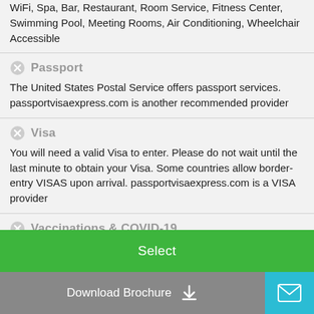WiFi, Spa, Bar, Restaurant, Room Service, Fitness Center, Swimming Pool, Meeting Rooms, Air Conditioning, Wheelchair Accessible
Passport
The United States Postal Service offers passport services. passportvisaexpress.com is another recommended provider
Visa
You will need a valid Visa to enter. Please do not wait until the last minute to obtain your Visa. Some countries allow border-entry VISAS upon arrival. passportvisaexpress.com is a VISA provider
Vaccinations & COVID-19
The Yellow Fever vaccination is the only REQUIRED vaccination to
Select
Download Brochure